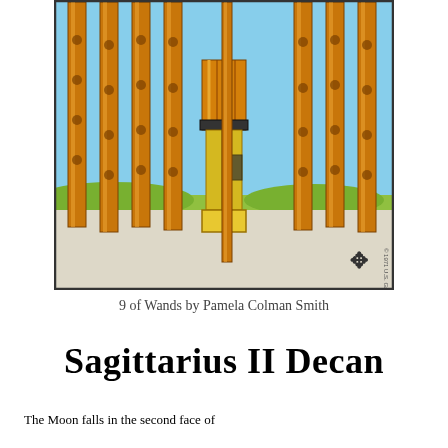[Figure (illustration): Tarot card illustration: 9 of Wands by Pamela Colman Smith. Shows a figure standing among nine tall wands/staffs against a blue sky and green landscape background. The figure wears orange and yellow clothing with boots, holding one wand. A copyright mark and publisher symbol visible in lower right corner.]
9 of Wands by Pamela Colman Smith
Sagittarius II Decan
The Moon falls in the second face of